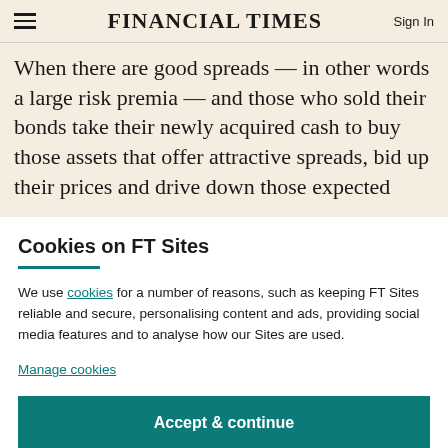FINANCIAL TIMES
When there are good spreads — in other words a large risk premia — and those who sold their bonds take their newly acquired cash to buy those assets that offer attractive spreads, bid up their prices and drive down those expected
Cookies on FT Sites
We use cookies for a number of reasons, such as keeping FT Sites reliable and secure, personalising content and ads, providing social media features and to analyse how our Sites are used.
Manage cookies
Accept & continue